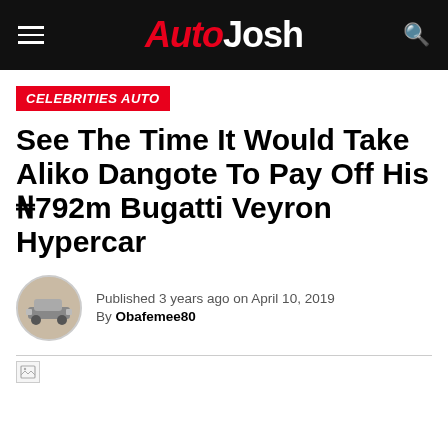AutoJosh
CELEBRITIES AUTO
See The Time It Would Take Aliko Dangote To Pay Off His ₦792m Bugatti Veyron Hypercar
Published 3 years ago on April 10, 2019
By Obafemee80
[Figure (photo): Broken image placeholder at bottom of article]